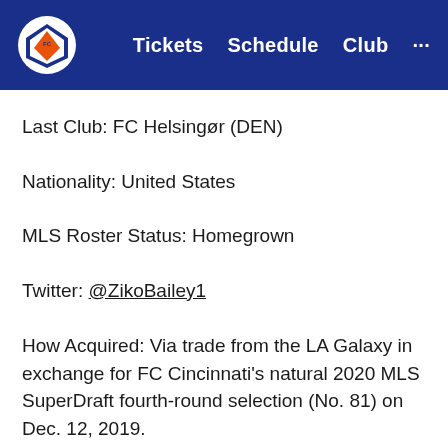FC Cincinnati navigation bar with Tickets, Schedule, Club links
Last Club: FC Helsingør (DEN)
Nationality: United States
MLS Roster Status: Homegrown
Twitter: @ZikoBailey1
How Acquired: Via trade from the LA Galaxy in exchange for FC Cincinnati's natural 2020 MLS SuperDraft fourth-round selection (No. 81) on Dec. 12, 2019.
| MLS | 2019 |
| --- | --- |